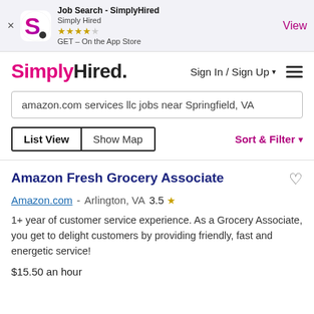[Figure (screenshot): App Store banner for Job Search - SimplyHired app showing logo, star rating (4 out of 5 stars), and View button]
[Figure (logo): SimplyHired logo in pink and dark text]
Sign In / Sign Up
amazon.com services llc jobs near Springfield, VA
List View   Show Map   Sort & Filter
Amazon Fresh Grocery Associate
Amazon.com - Arlington, VA  3.5
1+ year of customer service experience. As a Grocery Associate, you get to delight customers by providing friendly, fast and energetic service!
$15.50 an hour